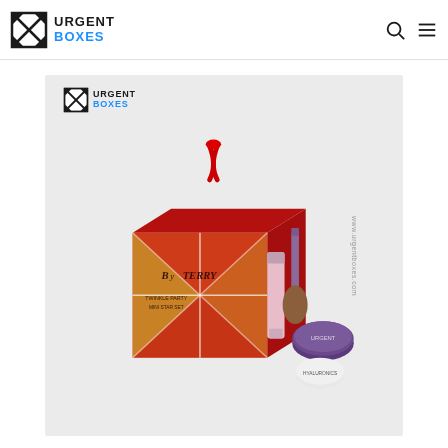URGENT BOXES - navigation header with logo, search icon, and menu icon
[Figure (photo): Product photo of By Terry Twinkle Party Mini Star Set — a red and gold gift box with the By Terry logo and a red ribbon hanger, displayed alongside makeup products including a pink lip gloss tube, a makeup brush, a purple compact/jar, and a small white product container. Urgent Boxes logo and www.urgentboxes.com watermark overlaid on the image.]